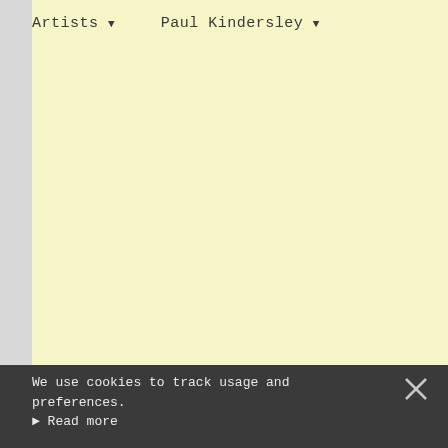Artists ▼   Paul Kindersley ▼
We use cookies to track usage and preferences.
► Read more